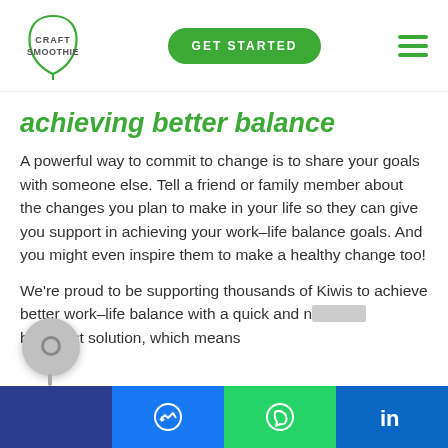CRAFT SMOOTHIE | GET STARTED
achieving better balance
A powerful way to commit to change is to share your goals with someone else. Tell a friend or family member about the changes you plan to make in your life so they can give you support in achieving your work-life balance goals. And you might even inspire them to make a healthy change too!
We're proud to be supporting thousands of Kiwis to achieve better work-life balance with a quick and nutritious breakfast solution, which means
Share bar: Facebook Messenger | WhatsApp | LinkedIn